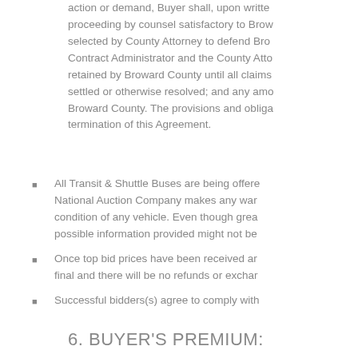action or demand, Buyer shall, upon written proceeding by counsel satisfactory to Broward selected by County Attorney to defend Broward Contract Administrator and the County Attorney retained by Broward County until all claims settled or otherwise resolved; and any amount Broward County. The provisions and obligations termination of this Agreement.
All Transit & Shuttle Buses are being offered National Auction Company makes any warranty condition of any vehicle. Even though greatest possible information provided might not be
Once top bid prices have been received and final and there will be no refunds or exchanges
Successful bidders(s) agree to comply with
6. BUYER'S PREMIUM: